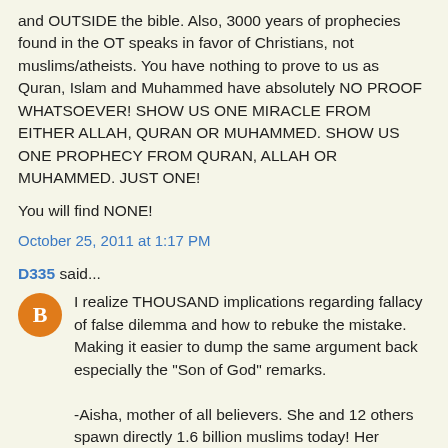and OUTSIDE the bible. Also, 3000 years of prophecies found in the OT speaks in favor of Christians, not muslims/atheists. You have nothing to prove to us as Quran, Islam and Muhammed have absolutely NO PROOF WHATSOEVER! SHOW US ONE MIRACLE FROM EITHER ALLAH, QURAN OR MUHAMMED. SHOW US ONE PROPHECY FROM QURAN, ALLAH OR MUHAMMED. JUST ONE!
You will find NONE!
October 25, 2011 at 1:17 PM
D335 said...
I realize THOUSAND implications regarding fallacy of false dilemma and how to rebuke the mistake. Making it easier to dump the same argument back especially the "Son of God" remarks.

-Aisha, mother of all believers. She and 12 others spawn directly 1.6 billion muslims today! Her "raheem" must be quite huge!
The Revelation one-three of the believers then...